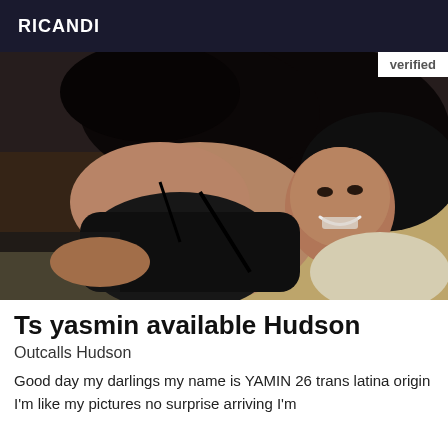RICANDI
[Figure (photo): Photo of a woman with long dark hair lying down, smiling, wearing black lingerie. A 'verified' badge appears in the top right corner of the image.]
Ts yasmin available Hudson
Outcalls Hudson
Good day my darlings my name is YAMIN 26 trans latina origin I'm like my pictures no surprise arriving I'm